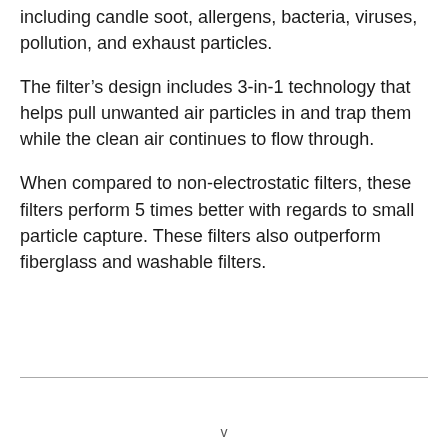including candle soot, allergens, bacteria, viruses, pollution, and exhaust particles.
The filter’s design includes 3-in-1 technology that helps pull unwanted air particles in and trap them while the clean air continues to flow through.
When compared to non-electrostatic filters, these filters perform 5 times better with regards to small particle capture. These filters also outperform fiberglass and washable filters.
v